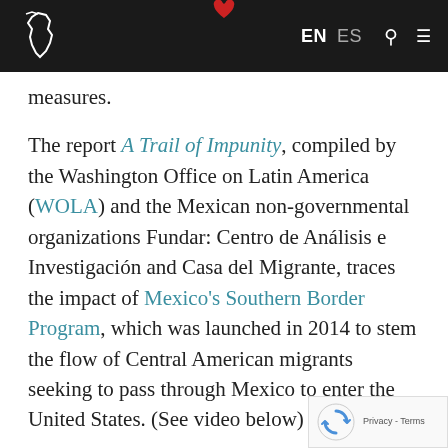EN ES [search] [menu]
measures.
The report A Trail of Impunity, compiled by the Washington Office on Latin America (WOLA) and the Mexican non-governmental organizations Fundar: Centro de Análisis e Investigación and Casa del Migrante, traces the impact of Mexico's Southern Border Program, which was launched in 2014 to stem the flow of Central American migrants seeking to pass through Mexico to enter the United States. (See video below)
According to the findings, the program's security measures have done little to deter...